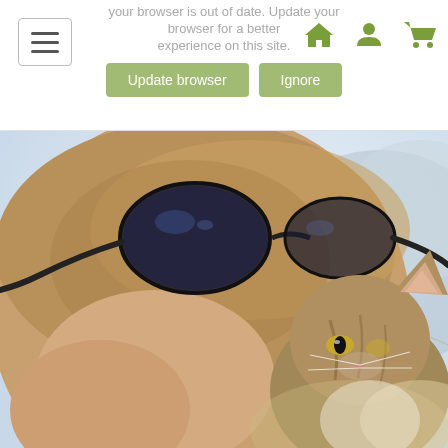your browser is out of date. Update your browser for a better experience on this site. [Update browser] [Ignore]
[Figure (photo): Close-up photo of a person with sunglasses resting on their head, with a tabby cat perched near their shoulder, blurred outdoor background]